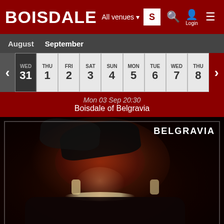BOISDALE — All venues — Login
August   September
| WED | THU | FRI | SAT | SUN | MON | TUE | WED | THU |
| --- | --- | --- | --- | --- | --- | --- | --- | --- |
| 31 | 1 | 2 | 3 | 4 | 5 | 6 | 7 | 8 |
Mon 03 Sep 20:30
Boisdale of Belgravia
[Figure (photo): Woman performer with red curly hair, black hat/veil, pearl necklace, smiling on stage. 'BELGRAVIA' label in top right corner.]